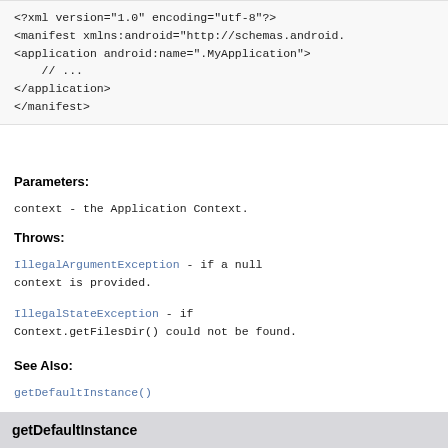<?xml version="1.0" encoding="utf-8"?>
<manifest xmlns:android="http://schemas.android...
<application android:name=".MyApplication">
  // ...
</application>
</manifest>
Parameters:
context - the Application Context.
Throws:
IllegalArgumentException - if a null context is provided.
IllegalStateException - if Context.getFilesDir() could not be found.
See Also:
getDefaultInstance()
getDefaultInstance